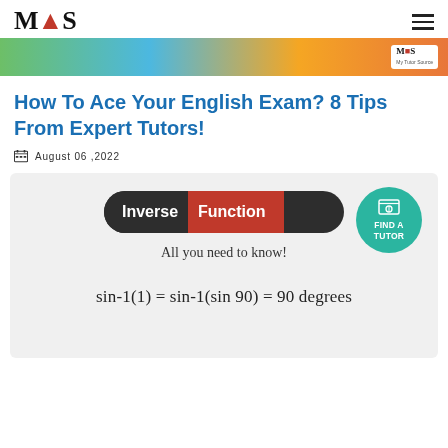MTS logo and hamburger menu
[Figure (illustration): Colorful banner strip with green, blue, orange gradient and MTS logo on the right]
How To Ace Your English Exam? 8 Tips From Expert Tutors!
August 06 ,2022
[Figure (infographic): Gray card with 'Inverse Function' badge (dark/red pill shape), 'All you need to know!' subtitle, 'FIND A TUTOR' teal circle icon top-right, and math formula: sin-1(1) = sin-1(sin 90) = 90 degrees]